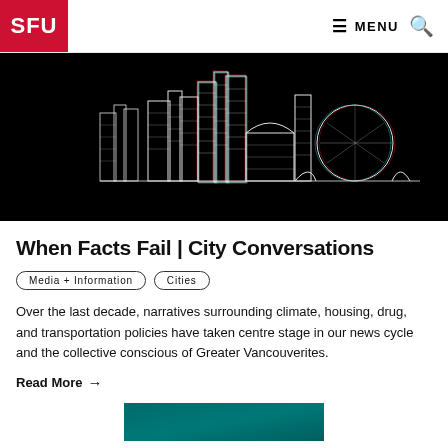SFU | MENU 🔍
[Figure (illustration): Night city skyline illustration in white line art on black background with subtle red/cyan chromatic aberration effect, showing tall buildings, a geodesic dome, and urban architecture]
When Facts Fail | City Conversations
Media + Information  Cities
Over the last decade, narratives surrounding climate, housing, drug, and transportation policies have taken centre stage in our news cycle and the collective conscious of Greater Vancouverites.
Read More →
[Figure (photo): Partial teaser image at bottom of page, teal/teal-blue colored, partially visible]